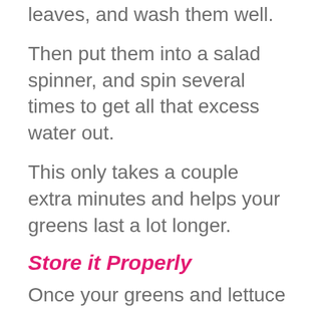leaves, and wash them well.
Then put them into a salad spinner, and spin several times to get all that excess water out.
This only takes a couple extra minutes and helps your greens last a lot longer.
Store it Properly
Once your greens and lettuce are rinsed and drained of as much